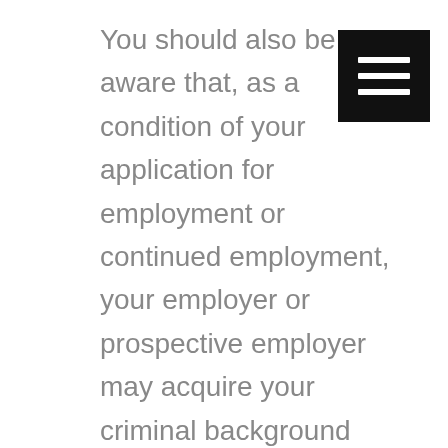You should also be aware that, as a condition of your application for employment or continued employment, your employer or prospective employer may acquire your criminal background records by means of employing a service that specialized in obtaining such records via electronic interface with local, state, and federal municipalities, law enforcement agencies, bureaus, or other sources of such criminal
[Figure (other): Hamburger menu icon — black square with three horizontal white lines]